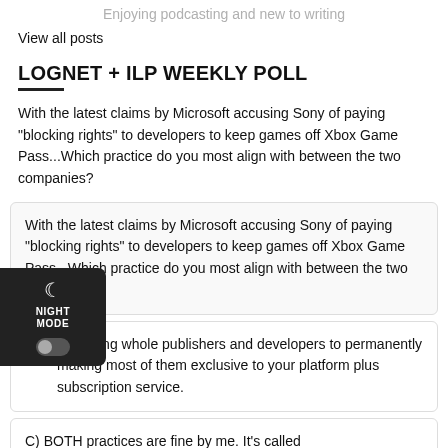Enjoying podcasting and new to writing
View all posts
LOGNET + ILP WEEKLY POLL
With the latest claims by Microsoft accusing Sony of paying “blocking rights” to developers to keep games off Xbox Game Pass...Which practice do you most align with between the two companies?
With the latest claims by Microsoft accusing Sony of paying “blocking rights” to developers to keep games off Xbox Game Pass...Which practice do you most align with between the two companies?
B) Buying whole publishers and developers to permanently making most of them exclusive to your platform plus subscription service.
C) BOTH practices are fine by me. It's called